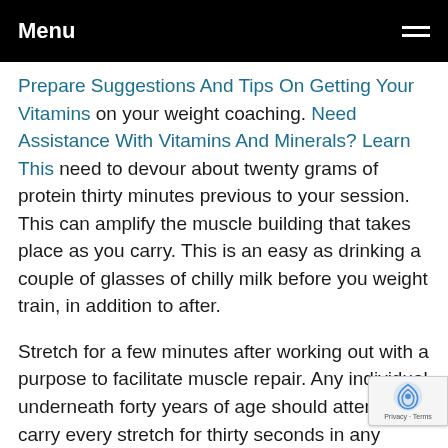Menu
Prepare Suggestions And Tips On Getting Your Vitamins on your weight coaching. Need Assistance With Vitamins And Minerals? Learn This need to devour about twenty grams of protein thirty minutes previous to your session. This can amplify the muscle building that takes place as you carry. This is an easy as drinking a couple of glasses of chilly milk before you weight train, in addition to after.
Stretch for a few minutes after working out with a purpose to facilitate muscle repair. Any individual underneath forty years of age should attempt to carry every stretch for thirty seconds in any case. Those over forty ought to hold onto their stretches for about a